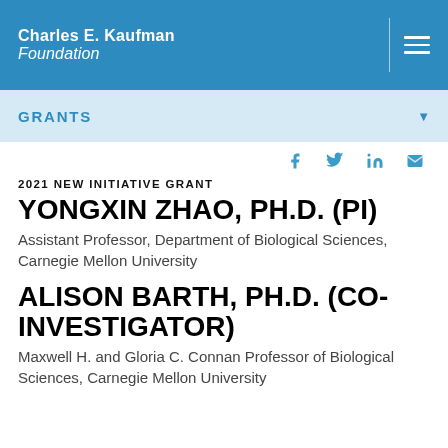Charles E. Kaufman Foundation
GRANTS
2021 NEW INITIATIVE GRANT
YONGXIN ZHAO, PH.D. (PI)
Assistant Professor, Department of Biological Sciences, Carnegie Mellon University
ALISON BARTH, PH.D. (CO-INVESTIGATOR)
Maxwell H. and Gloria C. Connan Professor of Biological Sciences, Carnegie Mellon University